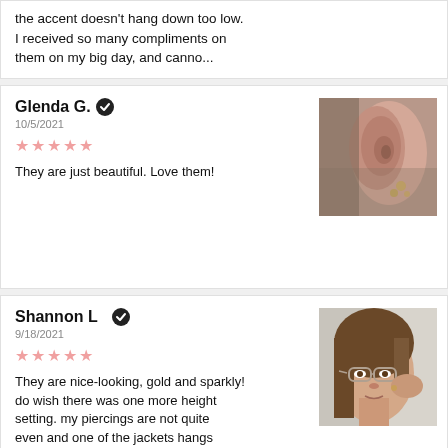the accent doesn't hang down too low. I received so many compliments on them on my big day, and canno...
Glenda G. ✔
10/5/2021
[Figure (photo): Close-up photo of a human ear wearing gold stud earrings]
They are just beautiful. Love them!
Shannon L. ✔
9/18/2021
[Figure (photo): Photo of a woman with glasses touching her ear, wearing small gold earrings]
They are nice-looking, gold and sparkly! do wish there was one more height setting. my piercings are not quite even and one of the jackets hangs lower than the other.